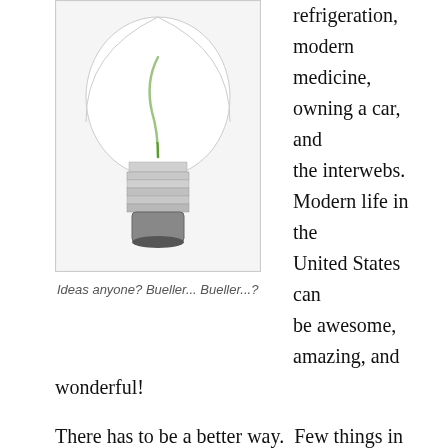[Figure (photo): A light bulb with a green filament on a white background]
Ideas anyone? Bueller... Bueller...?
refrigeration, modern medicine, owning a car, and the interwebs. Modern life in the United States can be awesome, amazing, and wonderful!
There has to be a better way.  Few things in life are this black and white. Change has to come from both sides–manufacturer and consumer. I must demand my goods be slave free and ethically sound. I have to accept that these goods will eventually cost more. Corporations